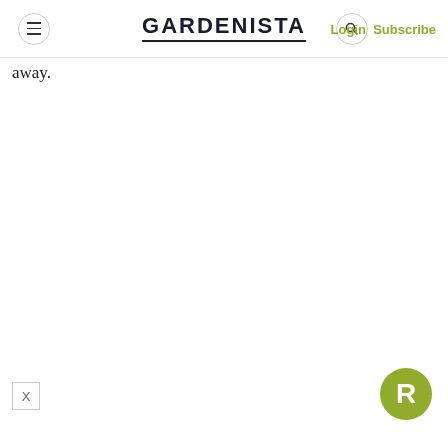GARDENISTA | Login Subscribe
away.
[Figure (logo): Green circular badge with white letter R]